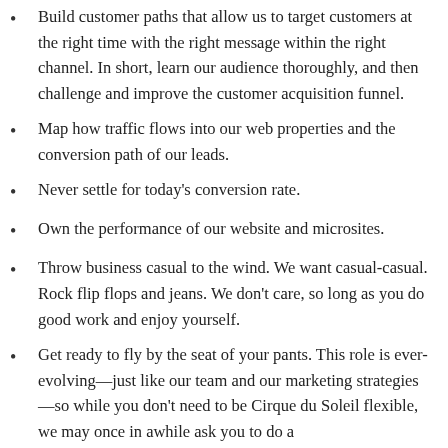Build customer paths that allow us to target customers at the right time with the right message within the right channel. In short, learn our audience thoroughly, and then challenge and improve the customer acquisition funnel.
Map how traffic flows into our web properties and the conversion path of our leads.
Never settle for today's conversion rate.
Own the performance of our website and microsites.
Throw business casual to the wind. We want casual-casual. Rock flip flops and jeans. We don't care, so long as you do good work and enjoy yourself.
Get ready to fly by the seat of your pants. This role is ever-evolving—just like our team and our marketing strategies—so while you don't need to be Cirque du Soleil flexible, we may once in awhile ask you to do a